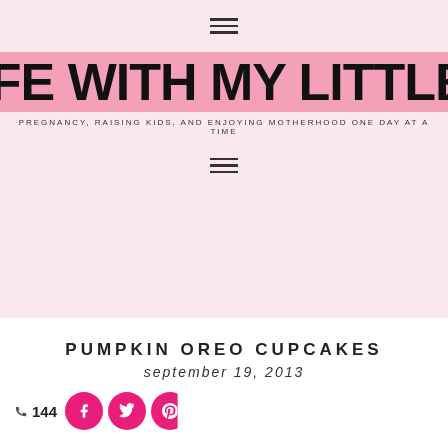≡ (navigation menu icon)
LIFE WITH MY LITTLES
PREGNANCY, RAISING KIDS, AND ENJOYING MOTHERHOOD ONE DAY AT A TIME
≡ (navigation menu icon)
PUMPKIN OREO CUPCAKES
september 19, 2013
144 [social share buttons: Facebook, Twitter, Pinterest]